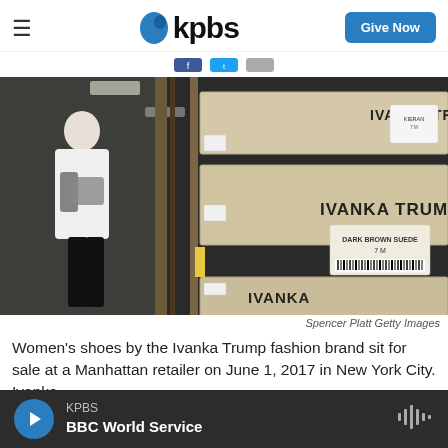KPBS — Give Now
[Figure (photo): Rows of shoe boxes labeled IVANKA TRUMP on shelves in a warehouse/retail stockroom, with a woman in the background looking at inventory. Labels visible include 'DARK BROWN SUEDE 7M' and 'KIERAN' style names.]
Spencer Platt Getty Images
Women's shoes by the Ivanka Trump fashion brand sit for sale at a Manhattan retailer on June 1, 2017 in New York City. Ivanka
KPBS — BBC World Service